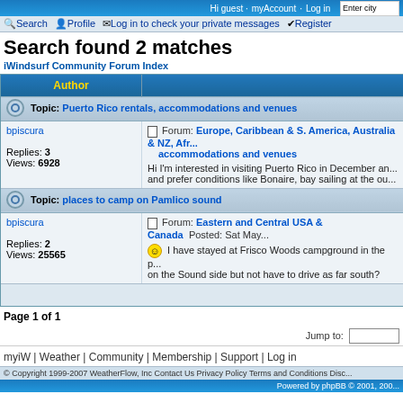Hi guest · myAccount · Log in | Enter city
Search | Profile | Log in to check your private messages | Register
Search found 2 matches
iWindsurf Community Forum Index
| Author |  |
| --- | --- |
| Topic: Puerto Rico rentals, accommodations and venues |  |
| bpiscura
Replies: 3
Views: 6928 | Forum: Europe, Caribbean & S. America, Australia & NZ, Afr... accommodations and venues
Hi I'm interested in visiting Puerto Rico in December an... and prefer conditions like Bonaire, bay sailing at the ou... |
| Topic: places to camp on Pamlico sound |  |
| bpiscura
Replies: 2
Views: 25565 | Forum: Eastern and Central USA & Canada  Posted: Sat Ma...
:) I have stayed at Frisco Woods campground in the p... on the Sound side but not have to drive as far south? |
Page 1 of 1
Jump to:
myiW | Weather | Community | Membership | Support | Log in
© Copyright 1999-2007 WeatherFlow, Inc Contact Us Privacy Policy Terms and Conditions Disc...
Powered by phpBB © 2001, 200...